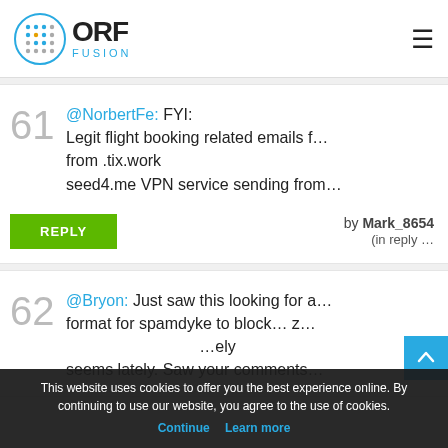ORF fusion
61 @NorbertFe: FYI: Legit flight booking related emails from .tix.work seed4.me VPN service sending from
by Mark_8654 (in reply
62 @Bryon: Just saw this looking for a format for spamdyke to block... solely seems lately. Saw your comments
This website uses cookies to offer you the best experience online. By continuing to use our website, you agree to the use of cookies.